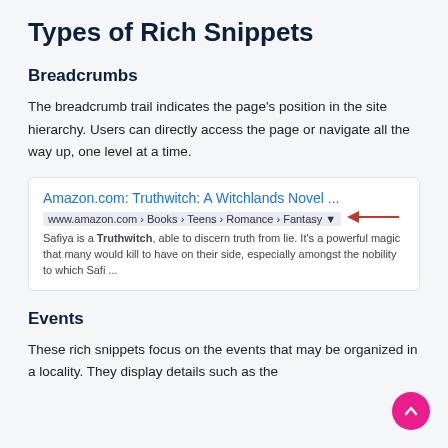Types of Rich Snippets
Breadcrumbs
The breadcrumb trail indicates the page's position in the site hierarchy. Users can directly access the page or navigate all the way up, one level at a time.
[Figure (screenshot): A Google search result snippet showing Amazon.com: Truthwitch: A Witchlands Novel ... with URL www.amazon.com › Books › Teens › Romance › Fantasy highlighted in blue with a red arrow pointing to the breadcrumb URL. Description text: Safiya is a Truthwitch, able to discern truth from lie. It's a powerful magic that many would kill to have on their side, especially amongst the nobility to which Safi ...]
Events
These rich snippets focus on the events that may be organized in a locality. They display details such as the